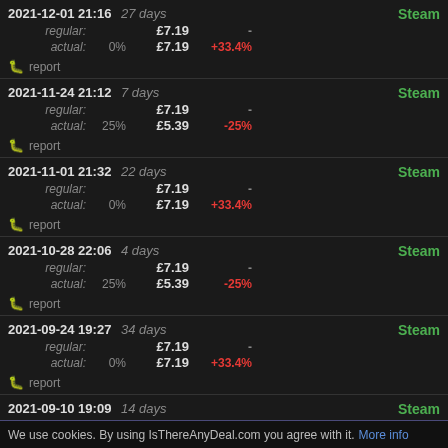| Date | Duration | Type | Discount | Price | Change | Store |
| --- | --- | --- | --- | --- | --- | --- |
| 2021-12-01 21:16 | 27 days | regular: |  | £7.19 | - | Steam |
|  |  | actual: | 0% | £7.19 | +33.4% |  |
| 2021-11-24 21:12 | 7 days | regular: |  | £7.19 | - | Steam |
|  |  | actual: | 25% | £5.39 | -25% |  |
| 2021-11-01 21:32 | 22 days | regular: |  | £7.19 | - | Steam |
|  |  | actual: | 0% | £7.19 | +33.4% |  |
| 2021-10-28 22:06 | 4 days | regular: |  | £7.19 | - | Steam |
|  |  | actual: | 25% | £5.39 | -25% |  |
| 2021-09-24 19:27 | 34 days | regular: |  | £7.19 | - | Steam |
|  |  | actual: | 0% | £7.19 | +33.4% |  |
| 2021-09-10 19:09 | 14 days | regular: |  | £7.19 | - | Steam |
|  |  | actual: | 25% | £5.39 | -25% |  |
We use cookies. By using IsThereAnyDeal.com you agree with it. More info